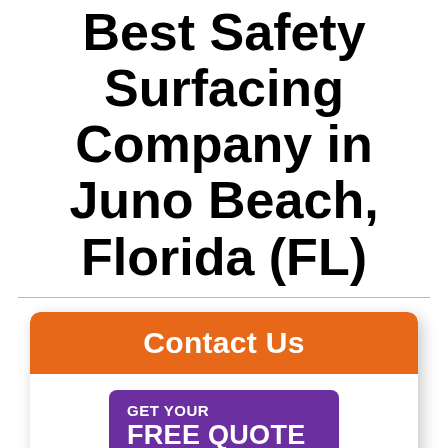Best Safety Surfacing Company in Juno Beach, Florida (FL)
[Figure (infographic): Contact Us card with orange header and purple 'GET YOUR FREE QUOTE TODAY!' button with phone icon]
GET YOUR FREE QUOTE TODAY!